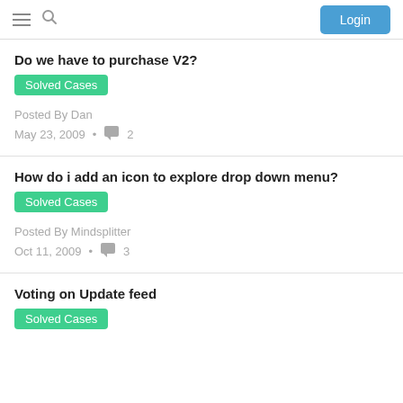Login
Do we have to purchase V2?
Solved Cases
Posted By Dan
May 23, 2009 • 2
How do i add an icon to explore drop down menu?
Solved Cases
Posted By Mindsplitter
Oct 11, 2009 • 3
Voting on Update feed
Solved Cases